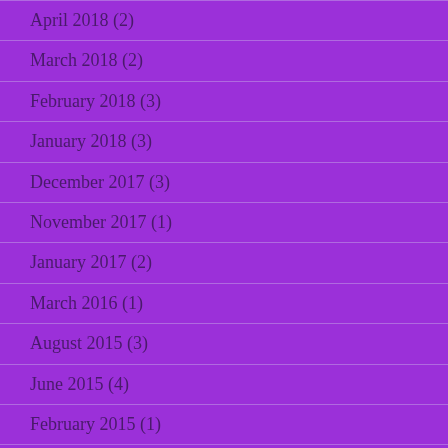April 2018 (2)
March 2018 (2)
February 2018 (3)
January 2018 (3)
December 2017 (3)
November 2017 (1)
January 2017 (2)
March 2016 (1)
August 2015 (3)
June 2015 (4)
February 2015 (1)
January 2015 (7)